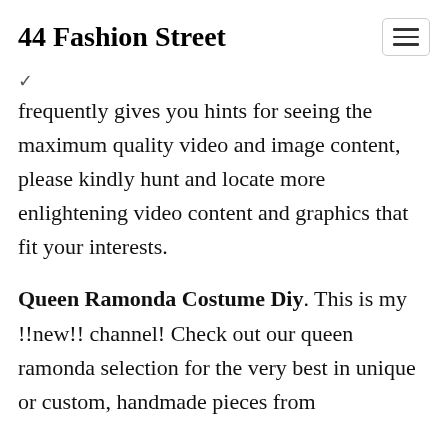44 Fashion Street
✓
frequently gives you hints for seeing the maximum quality video and image content, please kindly hunt and locate more enlightening video content and graphics that fit your interests.
Queen Ramonda Costume Diy. This is my !!new!! channel! Check out our queen ramonda selection for the very best in unique or custom, handmade pieces from